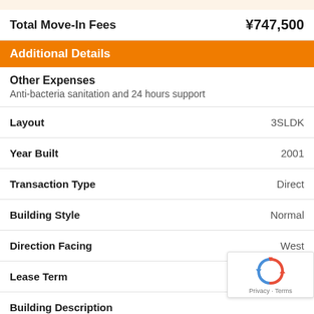Total Move-In Fees ¥747,500
Additional Details
Other Expenses
Anti-bacteria sanitation and 24 hours support
| Field | Value |
| --- | --- |
| Layout | 3SLDK |
| Year Built | 2001 |
| Transaction Type | Direct |
| Building Style | Normal |
| Direction Facing | West |
| Lease Term |  |
| Building Description |  |